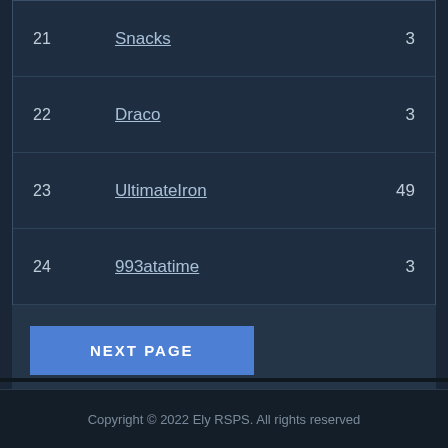| # |  | Name | Score |
| --- | --- | --- | --- |
| 21 |  | Snacks | 3 |
| 22 |  | Draco | 3 |
| 23 |  | UltimateIron | 49 |
| 24 |  | 993atatime | 3 |
| 25 |  | nakasumi2 | 131 |
NEXT PAGE
Copyright © 2022 Ely RSPS. All rights reserved